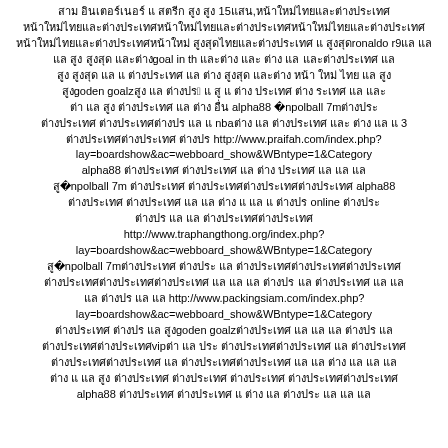Thai/mixed language text block with references to ronaldo r9, goal in th, goden goalz, alpha88, baanpolball 7m, nba, http://www.praifah.com/index.php?lay=boardshow&ac=webboard_show&WBntype=1&Category, alpha88, baanpolball 7m, alpha88, online, http://www.traphangthong.org/index.php?lay=boardshow&ac=webboard_show&WBntype=1&Category, baanpolball 7m, http://www.packingsiam.com/index.php?lay=boardshow&ac=webboard_show&WBntype=1&Category, goden goalz, vip, alpha88